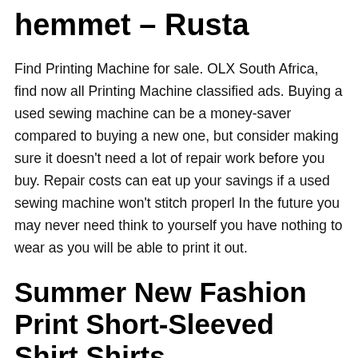hemmet – Rusta
Find Printing Machine for sale. OLX South Africa, find now all Printing Machine classified ads. Buying a used sewing machine can be a money-saver compared to buying a new one, but consider making sure it doesn't need a lot of repair work before you buy. Repair costs can eat up your savings if a used sewing machine won't stitch properl In the future you may never need think to yourself you have nothing to wear as you will be able to print it out.
Summer New Fashion Print Short-Sleeved Shirt Shirts
RICOH Pro 8300S Digital Black-and-white